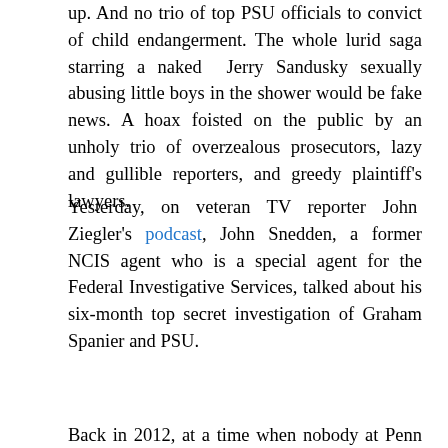up. And no trio of top PSU officials to convict of child endangerment. The whole lurid saga starring a naked Jerry Sandusky sexually abusing little boys in the shower would be fake news. A hoax foisted on the public by an unholy trio of overzealous prosecutors, lazy and gullible reporters, and greedy plaintiff's lawyers.
Yesterday, on veteran TV reporter John Ziegler's podcast, John Snedden, a former NCIS agent who is a special agent for the Federal Investigative Services, talked about his six-month top secret investigation of Graham Spanier and PSU.
Back in 2012, at a time when nobody at Penn State was talking, Snedden showed up in Happy Valley and interviewed everybody that mattered.
Because Snedden was on a mission of the highest importance on behalf of the federal government. Special Agent Snedden had to decide whether Graham Spanier's high-level security clearance should be renewed amid